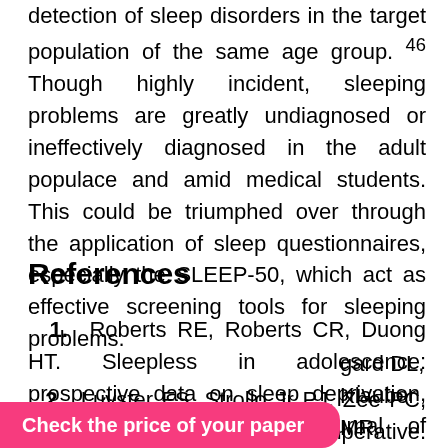detection of sleep disorders in the target population of the same age group. 46 Though highly incident, sleeping problems are greatly undiagnosed or ineffectively diagnosed in the adult populace and amid medical students. This could be triumphed over through the application of sleep questionnaires, especially the SLEEP-50, which act as effective screening tools for sleeping problems.
References
1. Roberts RE, Roberts CR, Duong HT. Sleepless in adolescence: prospective data on sleep deprivation, health and functioning. Journal of Adolescence. 2009; 32(5):1045-1057.
2. Luyster FS, Strollo Jr PJ, Zee PC, Walsh JK. Sleep: a health imperative. Sleep. 2012; 35(6):727-734.
gard DL, Klauber MR,